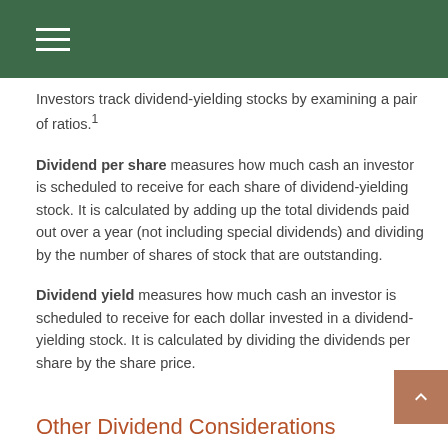Investors track dividend-yielding stocks by examining a pair of ratios.¹
Dividend per share measures how much cash an investor is scheduled to receive for each share of dividend-yielding stock. It is calculated by adding up the total dividends paid out over a year (not including special dividends) and dividing by the number of shares of stock that are outstanding.
Dividend yield measures how much cash an investor is scheduled to receive for each dollar invested in a dividend-yielding stock. It is calculated by dividing the dividends per share by the share price.
Other Dividend Considerations